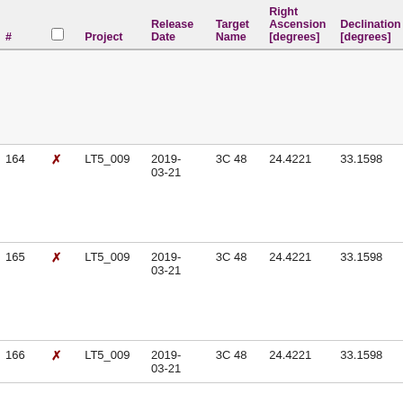| # |  | Project | Release Date | Target Name | Right Ascension [degrees] | Declination [degrees] | Central Frequency [MHz] | Ch Wi... |
| --- | --- | --- | --- | --- | --- | --- | --- | --- |
| 164 | ✗ | LT5_009 | 2019-03-21 | 3C 48 | 24.4221 | 33.1598 | 143.9453 | 122 |
| 165 | ✗ | LT5_009 | 2019-03-21 | 3C 48 | 24.4221 | 33.1598 | 144.1406 | 122 |
| 166 | ✗ | LT5_009 | 2019-03-21 | 3C 48 | 24.4221 | 33.1598 | 144.3359 | 122 |